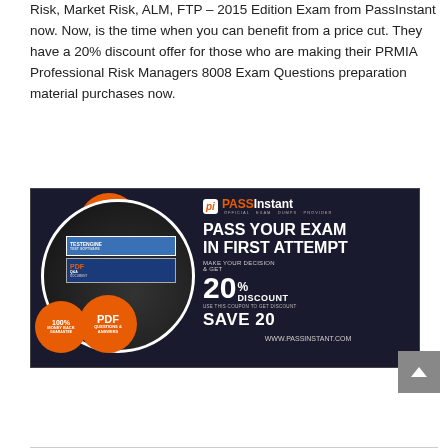Risk, Market Risk, ALM, FTP – 2015 Edition Exam from PassInstant now. Now, is the time when you can benefit from a price cut. They have a 20% discount offer for those who are making their PRMIA Professional Risk Managers 8008 Exam Questions preparation material purchases now.
[Figure (infographic): PassInstant promotional banner advertisement showing exam preparation products with 100% Updated Exam Dumps badge, PDF Questions & Answers badge, 100% Money Back Guarantee badge, PASS YOUR EXAM IN FIRST ATTEMPT headline, 20% DISCOUNT offer, SAVE 20, and WWW.PASSINSTANT.COM website URL.]